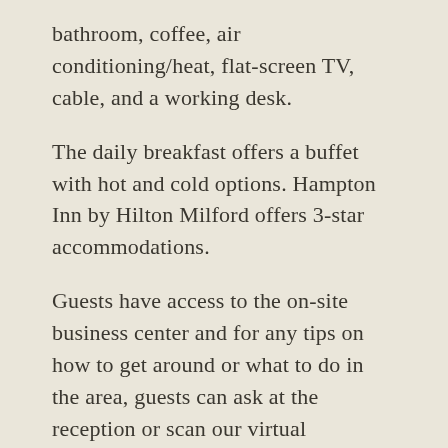bathroom, coffee, air conditioning/heat, flat-screen TV, cable, and a working desk.
The daily breakfast offers a buffet with hot and cold options. Hampton Inn by Hilton Milford offers 3-star accommodations.
Guests have access to the on-site business center and for any tips on how to get around or what to do in the area, guests can ask at the reception or scan our virtual concierge.
Yale University and New Haven city center are a 16 minutes drive from the property. Hampton Inn by Hilton Milford has located 108 km from John F. Kennedy International Airport, 98 km